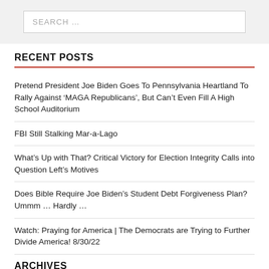SEARCH …
RECENT POSTS
Pretend President Joe Biden Goes To Pennsylvania Heartland To Rally Against ‘MAGA Republicans’, But Can’t Even Fill A High School Auditorium
FBI Still Stalking Mar-a-Lago
What’s Up with That? Critical Victory for Election Integrity Calls into Question Left’s Motives
Does Bible Require Joe Biden’s Student Debt Forgiveness Plan? Ummm … Hardly …
Watch: Praying for America | The Democrats are Trying to Further Divide America! 8/30/22
ARCHIVES